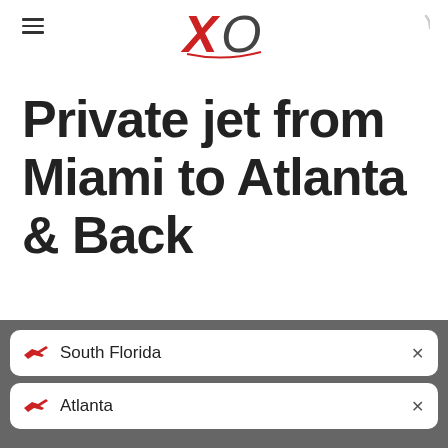[Figure (logo): XO private aviation logo with red X and dark O, hamburger menu on left, circular arc icon on right]
Private jet from Miami to Atlanta & Back
South Florida
Atlanta